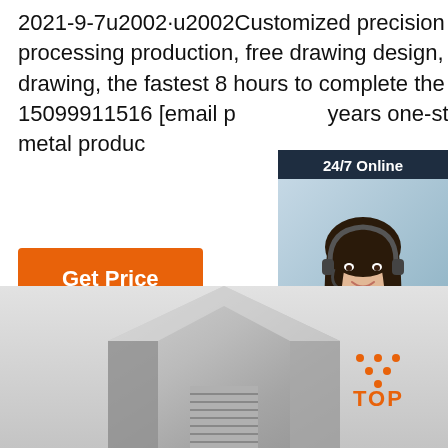2021-9-7u2002·u2002Customized precision turning, milling processing production, free drawing design, 30 minutes drawing, the fastest 8 hours to complete the proofing. +86 15099911516 [email p… years one-stop customized metal produc…
[Figure (photo): 24/7 Online customer support chat widget with a woman wearing a headset, a 'Click here for free chat!' message, and a QUOTATION button]
Get Price
[Figure (photo): Bottom image showing a metallic hex nut/fitting part on a light grey background, with a TOP logo in the bottom right corner]